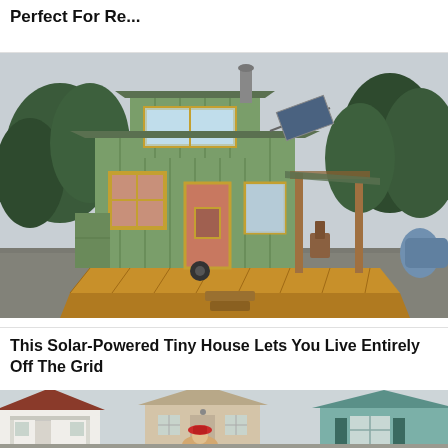Perfect For Re...
[Figure (photo): A green solar-powered tiny house on wheels with a wooden deck and covered porch area, surrounded by gravel and trees]
This Solar-Powered Tiny House Lets You Live Entirely Off The Grid
[Figure (photo): Three colorful tiny houses lined up - a white one with red roof, a beige one, and a teal blue one, with a person in a red hat visible in front]